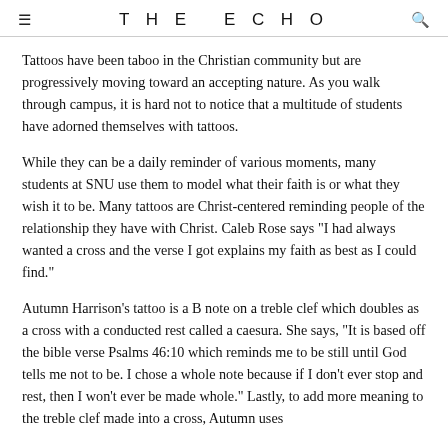THE ECHO
Tattoos have been taboo in the Christian community but are progressively moving toward an accepting nature. As you walk through campus, it is hard not to notice that a multitude of students have adorned themselves with tattoos.
While they can be a daily reminder of various moments, many students at SNU use them to model what their faith is or what they wish it to be. Many tattoos are Christ-centered reminding people of the relationship they have with Christ. Caleb Rose says "I had always wanted a cross and the verse I got explains my faith as best as I could find."
Autumn Harrison's tattoo is a B note on a treble clef which doubles as a cross with a conducted rest called a caesura. She says, "It is based off the bible verse Psalms 46:10 which reminds me to be still until God tells me not to be. I chose a whole note because if I don't ever stop and rest, then I won't ever be made whole." Lastly, to add more meaning to the treble clef made into a cross, Autumn uses